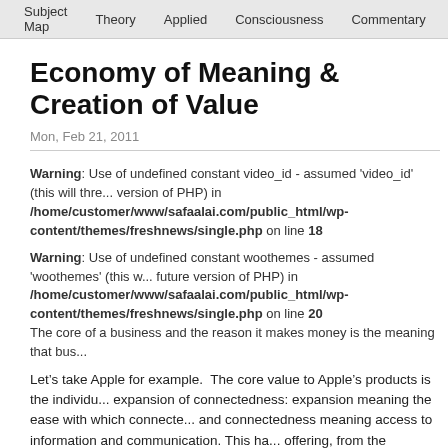Subject Map | Theory | Applied | Consciousness | Commentary
Economy of Meaning & Creation of Value
Mon, Feb 21, 2011
Warning: Use of undefined constant video_id - assumed 'video_id' (this will throw an Error in a future version of PHP) in /home/customer/www/safaalai.com/public_html/wp-content/themes/freshnews/single.php on line 18
Warning: Use of undefined constant woothemes - assumed 'woothemes' (this will throw an Error in a future version of PHP) in /home/customer/www/safaalai.com/public_html/wp-content/themes/freshnews/single.php on line 20
The core of a business and the reason it makes money is the meaning that bus...
Let’s take Apple for example.  The core value to Apple’s products is the individu... expansion of connectedness: expansion meaning the ease with which connecte... and connectedness meaning access to information and communication. This ha... offering, from the Personal Computer to the iPad. But what meaning does this c...
First, individualization has allowed users to tailor the access they need more clo... meaning they have been able to become connected when they need to. This ne... internal drive to create meaning, and like a plant that needs nourishment at just... the right amount, this expansion has allowed individuals to supply their internal...